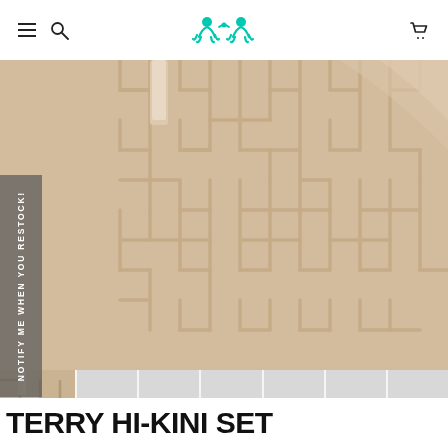Navigation bar with hamburger menu, search icon, teal logo, and cart icon
[Figure (photo): Close-up photo of a beige/cream terry cloth fabric with geometric herringbone/maze pattern texture. A lighter beige fabric tag or strap is visible at the top left corner.]
NOTIFY ME WHEN YOU RESTOCK!
[Figure (photo): Thumbnail strip showing 7 product image thumbnails of the terry fabric item. The first thumbnail shows the product at a different angle, the remaining thumbnails show gray placeholder or additional angles.]
TERRY HI-KINI SET